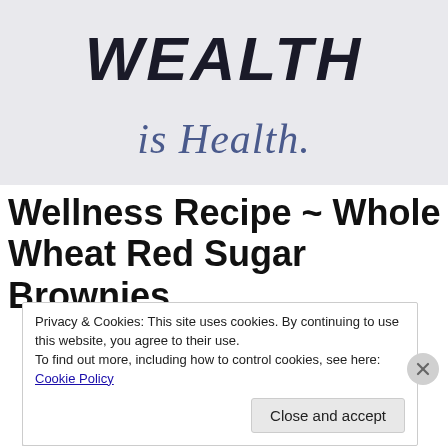[Figure (photo): Handwritten text on light gray background. 'WEALTH' in bold black brush lettering, and 'is Health.' in blue cursive below it.]
Wellness Recipe ~ Whole Wheat Red Sugar Brownies
Privacy & Cookies: This site uses cookies. By continuing to use this website, you agree to their use.
To find out more, including how to control cookies, see here: Cookie Policy
Close and accept